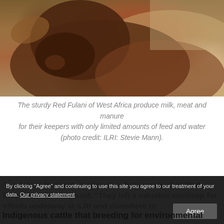[Figure (photo): Close-up photograph of Red Fulani cattle from West Africa, showing the face and neck area of the animal against a warm sandy/brownish background]
The sturdy Red Fulani of West Africa produce milk, meat and manure for their keepers with only limited amounts of feed and water (photo credit: ILRI: Stevie Mann).
'. . . “We’re fortunate that pastoralists are such skilled breeders,” Hanotte said. “They left a valuable roadmap for efforts underway at ILRI and elsewhere to
By clicking “Agree” and continuing to use this site you agree to our treatment of your data. Our privacy statement
Agree
Indigenous cattle that breeding for environmental